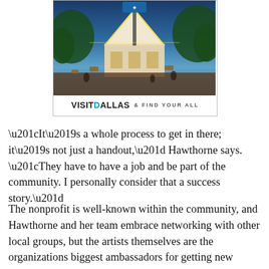[Figure (photo): Advertisement for Visit Dallas showing an outdoor venue/patio area at dusk with string lights on a triangular roof structure, surrounded by trees and people dining. Below the photo text reads: VISITDALLAS & FIND YOUR ALL]
“It’s a whole process to get in there; it’s not just a handout,” Hawthorne says. “They have to have a job and be part of the community. I personally consider that a success story.”
The nonprofit is well-known within the community, and Hawthorne and her team embrace networking with other local groups, but the artists themselves are the organizations biggest ambassadors for getting new artists